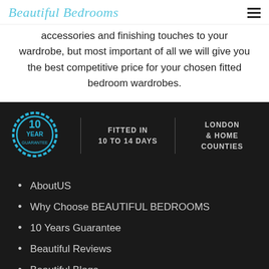Beautiful Bedrooms
accessories and finishing touches to your wardrobe, but most important of all we will give you the best competitive price for your chosen fitted bedroom wardrobes.
[Figure (infographic): Dark footer section with 10 Year Guarantee badge, 'FITTED IN 10 TO 14 DAYS', and 'LONDON & HOME COUNTIES' labels]
AboutUS
Why Choose BEAUTIFUL BEDROOMS
10 Years Guarantee
Beautiful Reviews
Beautiful Blogs
[Figure (logo): Facebook and Twitter social media icons]